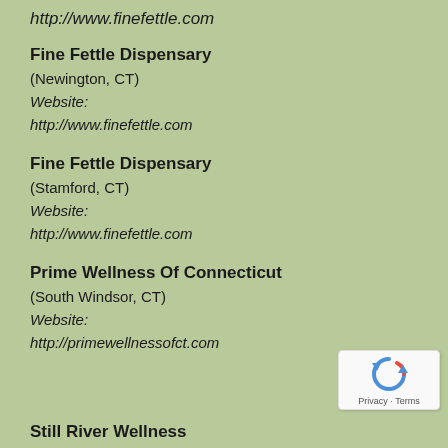http://www.finefettle.com
Fine Fettle Dispensary
(Newington, CT)
Website:
http://www.finefettle.com
Fine Fettle Dispensary
(Stamford, CT)
Website:
http://www.finefettle.com
Prime Wellness Of Connecticut
(South Windsor, CT)
Website:
http://primewellnessofct.com
Still River Wellness